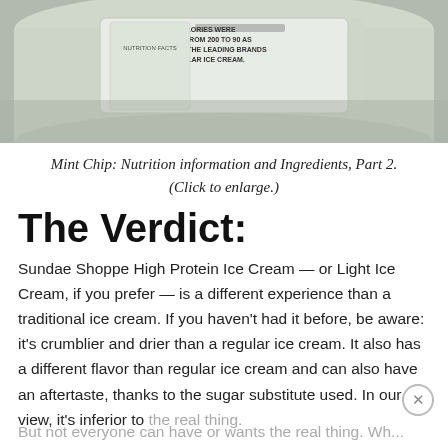[Figure (photo): Close-up photo of the bottom of a Sundae Shoppe Mint Chip ice cream container showing nutrition information and ingredients label. The container has a light green/white color.]
Mint Chip: Nutrition information and Ingredients, Part 2. (Click to enlarge.)
The Verdict:
Sundae Shoppe High Protein Ice Cream — or Light Ice Cream, if you prefer — is a different experience than a traditional ice cream. If you haven't had it before, be aware: it's crumblier and drier than a regular ice cream. It also has a different flavor than regular ice cream and can also have an aftertaste, thanks to the sugar substitute used. In our view, it's inferior to the real thing.
But not everyone can have or wants the real thing. Wh...